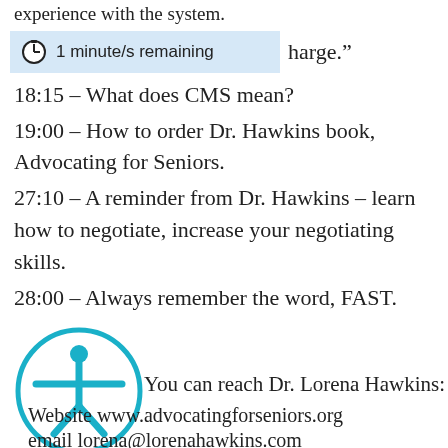experience with the system.
1 minute/s remaining   harge."
18:15 – What does CMS mean?
19:00 – How to order Dr. Hawkins book, Advocating for Seniors.
27:10 – A reminder from Dr. Hawkins – learn how to negotiate, increase your negotiating skills.
28:00 – Always remember the word, FAST.
[Figure (illustration): Accessibility icon: teal circle with a stick figure person with arms outstretched]
You can reach Dr. Lorena Hawkins:
Website www.advocatingforseniors.org
email lorena@lorenahawkins.com
FB group Advocating for Seniors